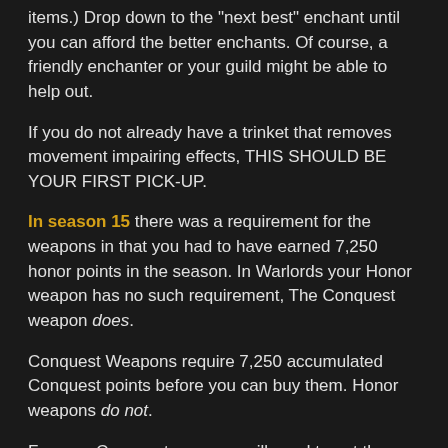items.) Drop down to the "next best" enchant until you can afford the better enchants. Of course, a friendly enchanter or your guild might be able to help out.
If you do not already have a trinket that removes movement impairing effects, THIS SHOULD BE YOUR FIRST PICK-UP.
In season 15 there was a requirement for the weapons in that you had to have earned 7,250 honor points in the season. In Warlords your Honor weapon has no such requirement, The Conquest weapon does.
Conquest Weapons require 7,250 accumulated Conquest points before you can buy them. Honor weapons do not.
For your Conquest gear you will need to get the head and gloves first, then the weapons. The order of acquisition is otherwise the same.
1. Get the weapon first, the staff looks like it has better stats